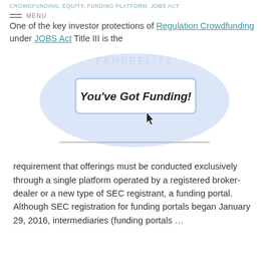CROWDFUNDING, EQUITY, FUNDING PLATFORM, JOBS ACT
One of the key investor protections of Regulation Crowdfunding under JOBS Act Title III is the
[Figure (illustration): Blue oval glow background with a button labeled 'You've Got Funding!' and a mouse cursor pointer, resembling an email notification button. A horizontal line appears below the image.]
requirement that offerings must be conducted exclusively through a single platform operated by a registered broker-dealer or a new type of SEC registrant, a funding portal. Although SEC registration for funding portals began January 29, 2016, intermediaries (funding portals ...